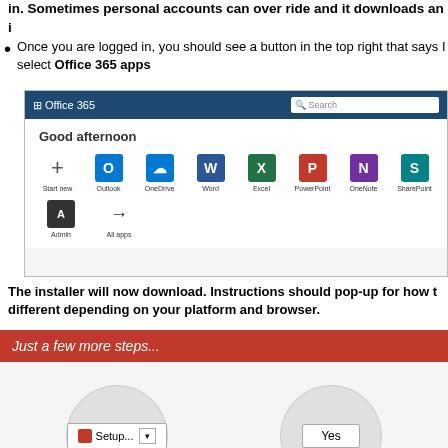in. Sometimes personal accounts can over ride and it downloads an i
Once you are logged in, you should see a button in the top right that says Install and select Office 365 apps
[Figure (screenshot): Screenshot of Office 365 web portal showing 'Good afternoon' greeting with app icons: Start new, Outlook, OneDrive, Word, Excel, PowerPoint, OneNote, SharePoint, Admin, All apps]
The installer will now download. Instructions should pop-up for how to different depending on your platform and browser.
[Figure (screenshot): Office installer dialog showing 'Just a few more steps...' with two circles: one showing Setup button and one showing Yes button]